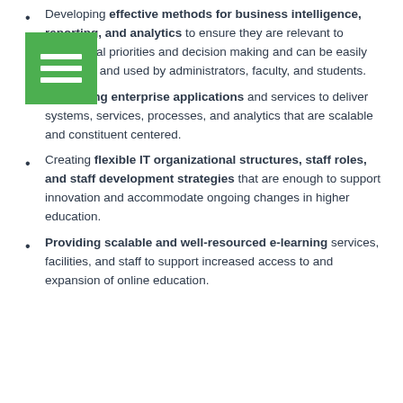Developing effective methods for business intelligence, reporting, and analytics to ensure they are relevant to institutional priorities and decision making and can be easily accessed and used by administrators, faculty, and students.
Integrating enterprise applications and services to deliver systems, services, processes, and analytics that are scalable and constituent centered.
Creating flexible IT organizational structures, staff roles, and staff development strategies that are enough to support innovation and accommodate ongoing changes in higher education.
Providing scalable and well-resourced e-learning services, facilities, and staff to support increased access to and expansion of online education.